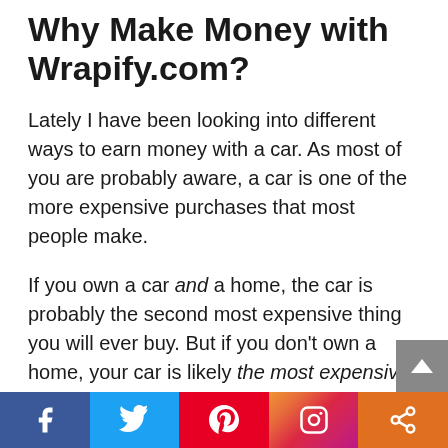Why Make Money with Wrapify.com?
Lately I have been looking into different ways to earn money with a car. As most of you are probably aware, a car is one of the more expensive purchases that most people make.
If you own a car and a home, the car is probably the second most expensive thing you will ever buy. But if you don't own a home, your car is likely the most expensive thing that you own.
But unfortunately, in most cases, cars are actually financial liabilities. They are